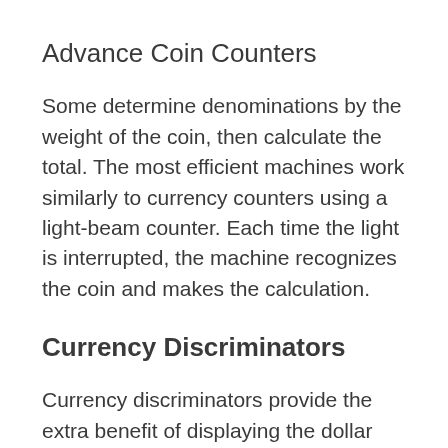Advance Coin Counters
Some determine denominations by the weight of the coin, then calculate the total. The most efficient machines work similarly to currency counters using a light-beam counter. Each time the light is interrupted, the machine recognizes the coin and makes the calculation.
Currency Discriminators
Currency discriminators provide the extra benefit of displaying the dollar value of the currency counted.